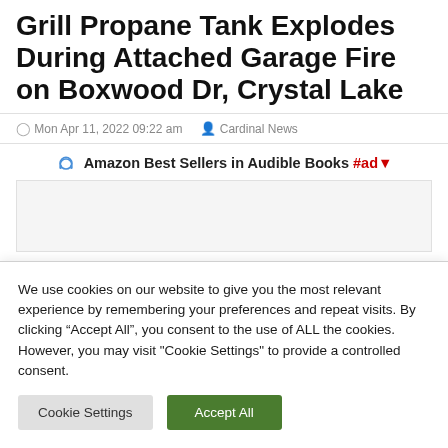Grill Propane Tank Explodes During Attached Garage Fire on Boxwood Dr, Crystal Lake
Mon Apr 11, 2022 09:22 am   Cardinal News
Amazon Best Sellers in Audible Books #ad▼
We use cookies on our website to give you the most relevant experience by remembering your preferences and repeat visits. By clicking "Accept All", you consent to the use of ALL the cookies. However, you may visit "Cookie Settings" to provide a controlled consent.